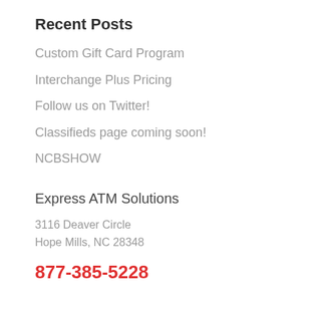Recent Posts
Custom Gift Card Program
Interchange Plus Pricing
Follow us on Twitter!
Classifieds page coming soon!
NCBSHOW
Express ATM Solutions
3116 Deaver Circle
Hope Mills, NC 28348
877-385-5228